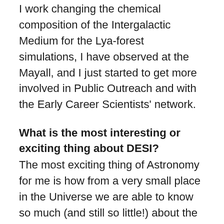I work changing the chemical composition of the Intergalactic Medium for the Lya-forest simulations, I have observed at the Mayall, and I just started to get more involved in Public Outreach and with the Early Career Scientists' network.
What is the most interesting or exciting thing about DESI?
The most exciting thing of Astronomy for me is how from a very small place in the Universe we are able to know so much (and still so little!) about the Universe, its structure and evolution.  About my job, to see how the changes I make on the simulations affect the